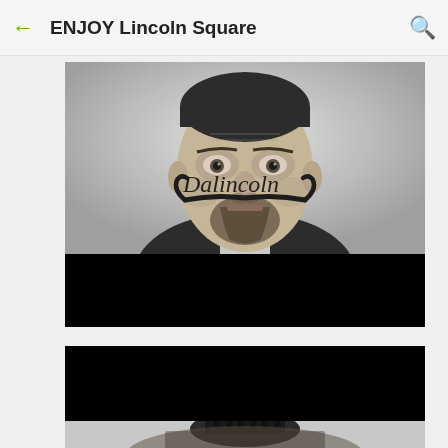ENJOY Lincoln Square
[Figure (photo): Black and white portrait of Abraham Lincoln with a Dali-style curled mustache overlaid. Text 'Dalincoln' appears on the lower left of the image. Below the photo is a black redacted bar.]
[Figure (photo): Second card showing a black redacted bar at top and a partial black and white photo peeking below showing a person's back with dark hair.]